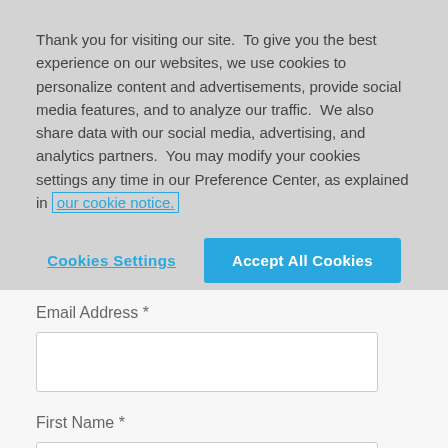Thank you for visiting our site.  To give you the best experience on our websites, we use cookies to personalize content and advertisements, provide social media features, and to analyze our traffic.  We also share data with our social media, advertising, and analytics partners.  You may modify your cookies settings any time in our Preference Center, as explained in our cookie notice.
Cookies Settings | Accept All Cookies
Email Address *
First Name *